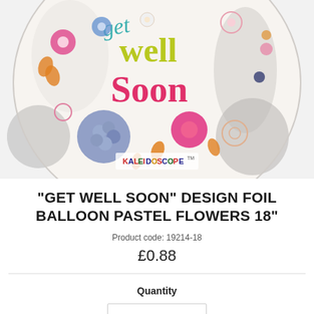[Figure (photo): A round foil balloon with 'Get Well Soon' text and colorful pastel flowers design, with Kaleidoscope brand logo at bottom center]
"GET WELL SOON" DESIGN FOIL BALLOON PASTEL FLOWERS 18"
Product code: 19214-18
£0.88
Quantity